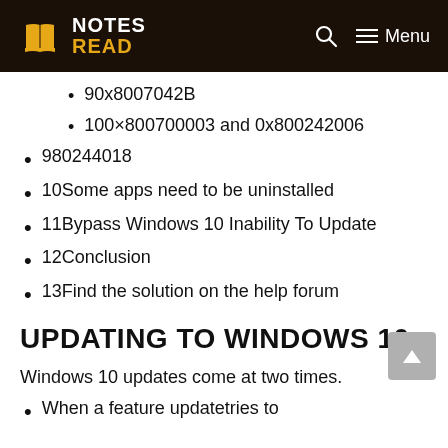NOTES READ — Menu
90x8007042B
100×800700003 and 0x800242006
980244018
10Some apps need to be uninstalled
11Bypass Windows 10 Inability To Update
12Conclusion
13Find the solution on the help forum
UPDATING TO WINDOWS 10
Windows 10 updates come at two times.
When a feature updatetries to